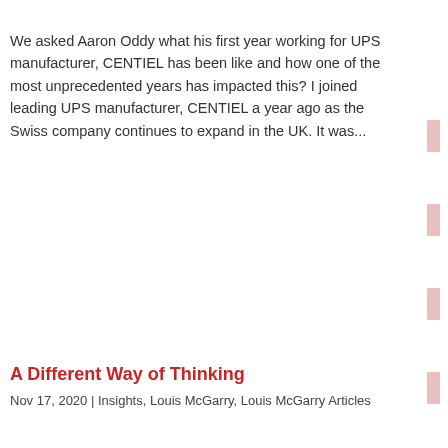We asked Aaron Oddy what his first year working for UPS manufacturer, CENTIEL has been like and how one of the most unprecedented years has impacted this? I joined leading UPS manufacturer, CENTIEL a year ago as the Swiss company continues to expand in the UK. It was...
A Different Way of Thinking
Nov 17, 2020 | Insights, Louis McGarry, Louis McGarry Articles